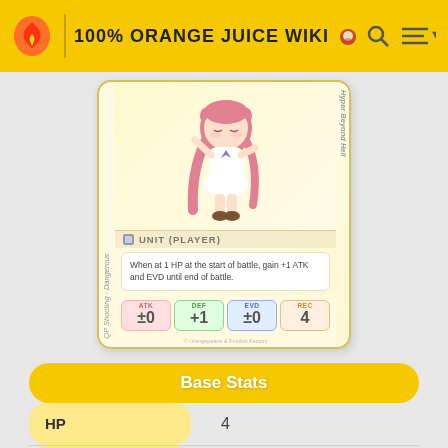100% ORANGE JUICE WIKI
[Figure (illustration): Game card for a player unit character (chibi anime girl with pink hair in white uniform). Card shows character image, UNIT (PLAYER) label, passive ability text, and stat boxes showing ATK ±0, DEF +1, EVD ±0, REC 4. Left side label: QP Shooting · Dangerous. Right side label: Hyper Beyond Hell.]
When at 1 HP at the start of battle, gain +1 ATK and EVD until end of battle.
Base Stats
| Stat | Value |
| --- | --- |
| HP | 4 |
| ATK | ±0 |
| DEF | +1 |